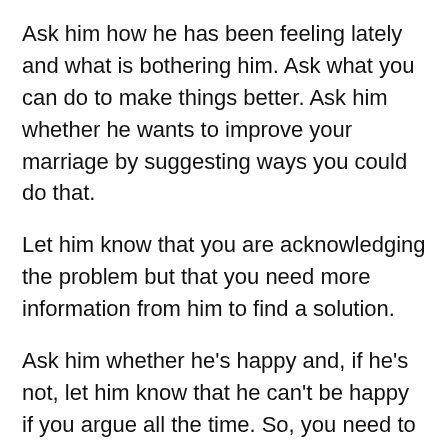Ask him how he has been feeling lately and what is bothering him. Ask what you can do to make things better. Ask him whether he wants to improve your marriage by suggesting ways you could do that.
Let him know that you are acknowledging the problem but that you need more information from him to find a solution.
Ask him whether he's happy and, if he's not, let him know that he can't be happy if you argue all the time. So, you need to work on this so that you can both be happy.